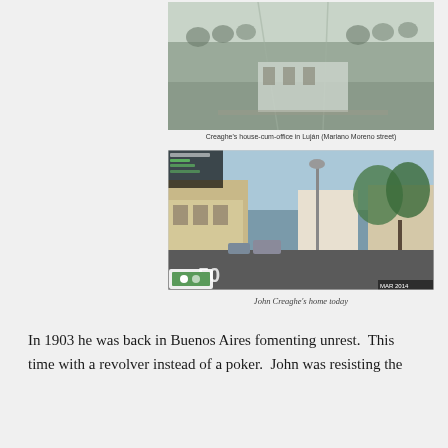[Figure (photo): Historic black and white aerial/elevated photograph of Creaghe's house-cum-office in Luján, Mariano Moreno street, showing a wide street lined with trees and low buildings]
Creaghe's house-cum-office in Luján (Mariano Moreno street)
[Figure (photo): Google Street View photograph of John Creaghe's home today on Mariano Moreno street in Luján, showing modern storefronts, a street lamp, trees, and road markings]
John Creaghe's home today
In 1903 he was back in Buenos Aires fomenting unrest.  This time with a revolver instead of a poker.  John was resisting the